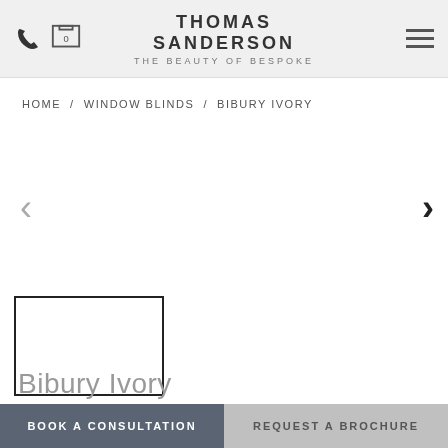THOMAS SANDERSON / THE BEAUTY OF BESPOKE
HOME / WINDOW BLINDS / BIBURY IVORY
[Figure (illustration): Carousel left arrow (chevron), light grey]
[Figure (illustration): Carousel right arrow (chevron), dark/black]
[Figure (photo): Small product thumbnail image placeholder with dark border, currently blank/white]
Bibury Ivory
BOOK A CONSULTATION
REQUEST A BROCHURE